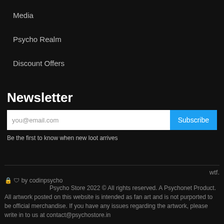Media
Psycho Realm
Discount Offers
Newsletter
you@email.com [input] Subscribe [button]
Be the first to know when new loot arrives
wtf.
🔒 🛡 by codinpsycho
Psycho Store 2022 © All rights reserved. A Psychonet Product.
All artwork posted on this website is intended as fan art and is not purported to be official merchandise. If you have any issues regarding the artwork, please write in to us at contact@psychostore.in